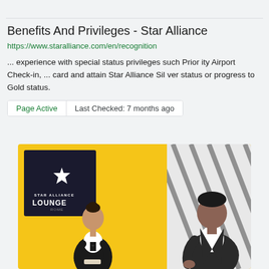Benefits And Privileges - Star Alliance
https://www.staralliance.com/en/recognition
... experience with special status privileges such Priority Airport Check-in, ... card and attain Star Alliance Silver status or progress to Gold status.
Page Active   Last Checked: 7 months ago
[Figure (photo): Photo of Star Alliance Lounge Rome entrance with a staff member handing something to a guest in a suit, yellow wall background with Star Alliance Lounge sign]